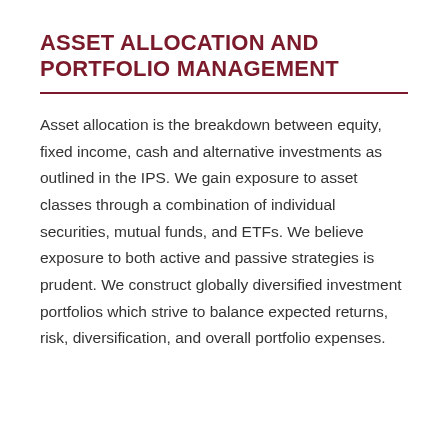ASSET ALLOCATION AND PORTFOLIO MANAGEMENT
Asset allocation is the breakdown between equity, fixed income, cash and alternative investments as outlined in the IPS. We gain exposure to asset classes through a combination of individual securities, mutual funds, and ETFs. We believe exposure to both active and passive strategies is prudent. We construct globally diversified investment portfolios which strive to balance expected returns, risk, diversification, and overall portfolio expenses.